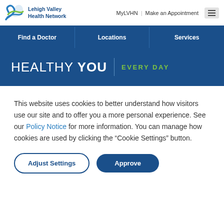[Figure (logo): Lehigh Valley Health Network logo with blue wave icon and text]
MyLVHN | Make an Appointment
Find a Doctor | Locations | Services
HEALTHY YOU | EVERY DAY
This website uses cookies to better understand how visitors use our site and to offer you a more personal experience. See our Policy Notice for more information. You can manage how cookies are used by clicking the “Cookie Settings” button.
Adjust Settings | Approve